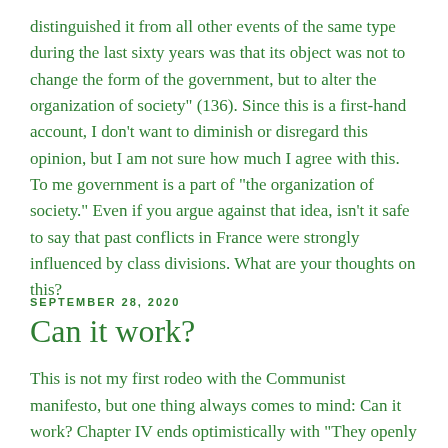distinguished it from all other events of the same type during the last sixty years was that its object was not to change the form of the government, but to alter the organization of society" (136). Since this is a first-hand account, I don't want to diminish or disregard this opinion, but I am not sure how much I agree with this. To me government is a part of "the organization of society." Even if you argue against that idea, isn't it safe to say that past conflicts in France were strongly influenced by class divisions. What are your thoughts on this?
SEPTEMBER 28, 2020
Can it work?
This is not my first rodeo with the Communist manifesto, but one thing always comes to mind: Can it work? Chapter IV ends optimistically with "They openly declare